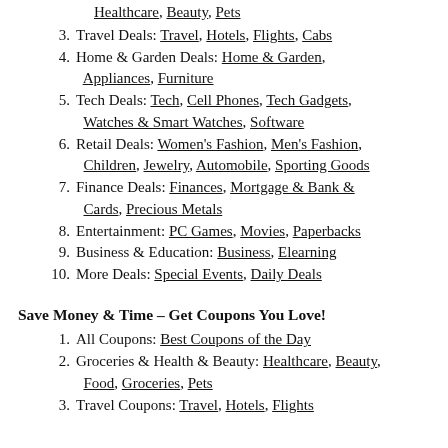Healthcare, Beauty, Pets (continuation of previous item)
3. Travel Deals: Travel, Hotels, Flights, Cabs
4. Home & Garden Deals: Home & Garden, Appliances, Furniture
5. Tech Deals: Tech, Cell Phones, Tech Gadgets, Watches & Smart Watches, Software
6. Retail Deals: Women's Fashion, Men's Fashion, Children, Jewelry, Automobile, Sporting Goods
7. Finance Deals: Finances, Mortgage & Bank & Cards, Precious Metals
8. Entertainment: PC Games, Movies, Paperbacks
9. Business & Education: Business, Elearning
10. More Deals: Special Events, Daily Deals
Save Money & Time – Get Coupons You Love!
1. All Coupons: Best Coupons of the Day
2. Groceries & Health & Beauty: Healthcare, Beauty, Food, Groceries, Pets
3. Travel Coupons: Travel, Hotels, Flights